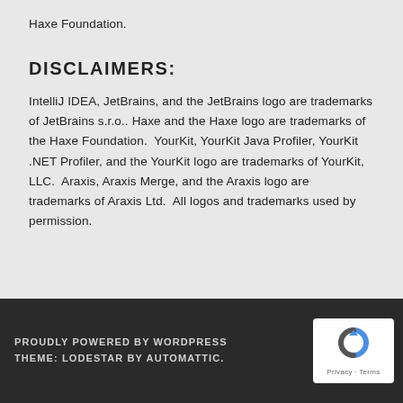Haxe Foundation.
DISCLAIMERS:
IntelliJ IDEA, JetBrains, and the JetBrains logo are trademarks of JetBrains s.r.o.. Haxe and the Haxe logo are trademarks of the Haxe Foundation.  YourKit, YourKit Java Profiler, YourKit .NET Profiler, and the YourKit logo are trademarks of YourKit, LLC.  Araxis, Araxis Merge, and the Araxis logo are trademarks of Araxis Ltd.  All logos and trademarks used by permission.
PROUDLY POWERED BY WORDPRESS
THEME: LODESTAR BY AUTOMATTIC.